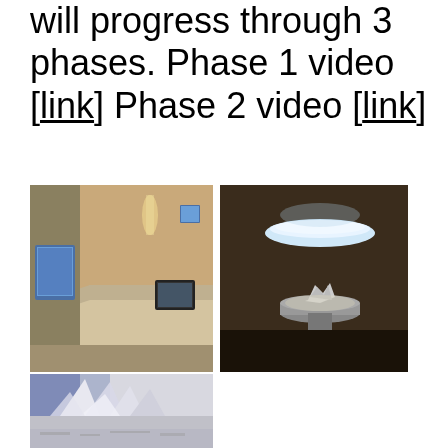will progress through 3 phases. Phase 1 video [link] Phase 2 video [link]
[Figure (photo): Interior room with a wall-mounted touchscreen panel (blue screen) on the left wall and an angled white counter/desk with a tablet device embedded in it. Warm spotlight visible on the wall.]
[Figure (photo): Dark room with a circular UFO-shaped white lamp hanging from the ceiling and an illuminated pedestal/platform below with a crumpled white paper or fabric object on it.]
[Figure (photo): White architectural model or sculpture with multiple angular triangular folded paper/card forms arranged on a flat surface, with blue lighting in the background.]